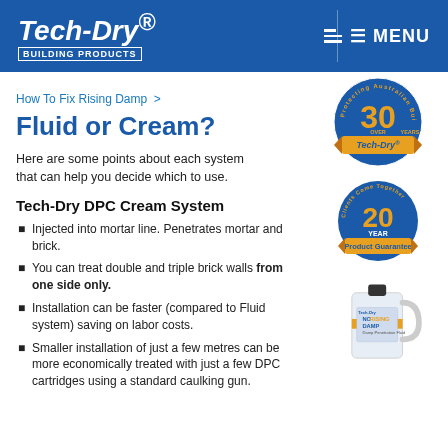Tech-Dry® BUILDING PRODUCTS | MENU
How To Fix Rising Damp >
Fluid or Cream?
Here are some points about each system that can help you decide which to use.
Tech-Dry DPC Cream System
Injected into mortar line. Penetrates mortar and brick.
You can treat double and triple brick walls from one side only.
Installation can be faster (compared to Fluid system) saving on labor costs.
Smaller installation of just a few metres can be more economically treated with just a few DPC cartridges using a standard caulking gun.
[Figure (logo): Tech-Dry over 30 years Australian Building badge in blue and orange]
[Figure (logo): 20 Year Product Guarantee badge in blue and orange]
[Figure (photo): Photo of Tech-Dry No Rising Damp product container (large white jug)]